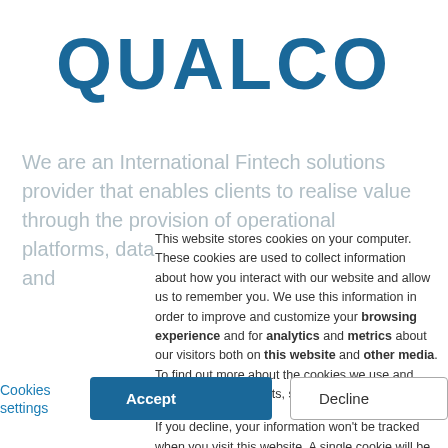[Figure (logo): QUALCO company logo in bold dark blue text]
We are an International Fintech solutions provider that enables clients to realise value through the provision of operational platforms, data insights, digital experiences, and
This website stores cookies on your computer. These cookies are used to collect information about how you interact with our website and allow us to remember you. We use this information in order to improve and customize your browsing experience and for analytics and metrics about our visitors both on this website and other media. To find out more about the cookies we use and manage your consents, see our Privacy Policy.

If you decline, your information won't be tracked when you visit this website. A single cookie will be used in your browser to remember your preference not to be tracked.
Cookies settings | Accept | Decline